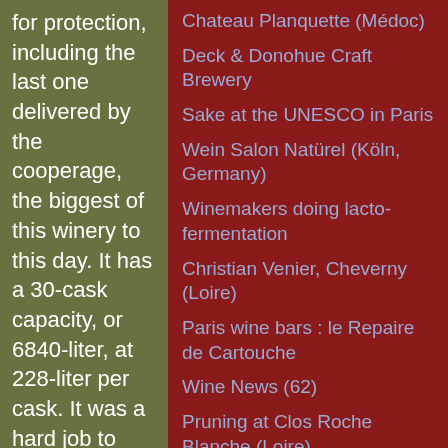for protection, including the last one delivered by the cooperage, the biggest of this winery to this day. It has a 30-cask capacity, or 6840-liter, at 228-liter per cask. It was a hard job to haul it inside because it is heavy and massive. Dominique de Suremain says
Chateau Planquette (Médoc)
Deck & Donohue Craft Brewery
Sake at the UNESCO in Paris
Wein Salon Natürel (Köln, Germany)
Winemakers doing lacto-fermentation
Christian Venier, Cheverny (Loire)
Paris wine bars : le Repaire de Cartouche
Wine News (62)
Pruning at Clos Roche Blanche (Loire)
Ephemeral grocery in Paris
The deep roots of old vines
Berlin wine bars : Ottorink